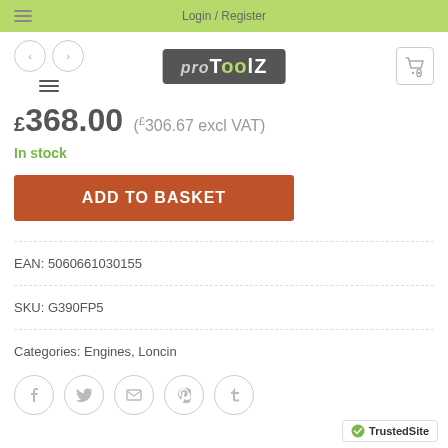Login / Register
[Figure (logo): ProToolZ logo in dark grey rounded rectangle]
£368.00 (£306.67 excl VAT)
In stock
ADD TO BASKET
EAN: 5060661030155
SKU: G390FP5
Categories: Engines, Loncin
[Figure (illustration): Social share icons: Facebook, Twitter, Email, Pinterest, Tumblr]
[Figure (logo): TrustedSite badge]